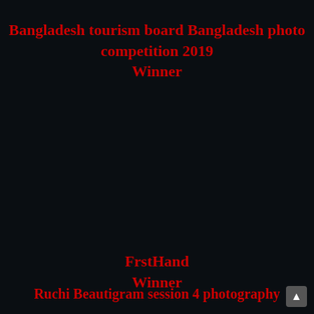Bangladesh tourism board Bangladesh photo competition 2019
Winner
[Figure (photo): Dark/black background photo area occupying the middle section of the page]
FrstHand
Winner
Ruchi Beautigram session 4 photography